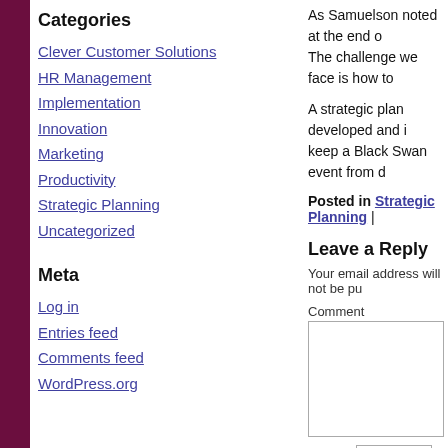Categories
Clever Customer Solutions
HR Management
Implementation
Innovation
Marketing
Productivity
Strategic Planning
Uncategorized
Meta
Log in
Entries feed
Comments feed
WordPress.org
As Samuelson noted at the end of... The challenge we face is how to...
A strategic plan developed and in... keep a Black Swan event from d...
Posted in Strategic Planning |
Leave a Reply
Your email address will not be pu...
Comment
Name *
Email *
Website
Save my name, email, and we...
Post Comment